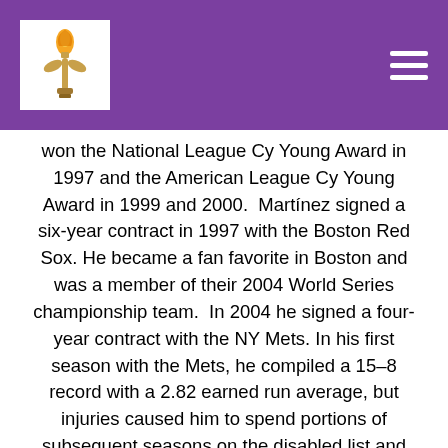Header with logo and navigation
won the National League Cy Young Award in 1997 and the American League Cy Young Award in 1999 and 2000.  Martínez signed a six-year contract in 1997 with the Boston Red Sox. He became a fan favorite in Boston and was a member of their 2004 World Series championship team.  In 2004 he signed a four-year contract with the NY Mets. In his first season with the Mets, he compiled a 15–8 record with a 2.82 earned run average, but injuries caused him to spend portions of subsequent seasons on the disabled list and limited his effectiveness. Still, in 2007, Martínez became the 15th pitcher (and first Latin American) in major league history to record 3,000 strikeouts. The Philadelphia Phillies signed Martínez to a one-year contract in 2009, and he retired at the end of the season after reaching the